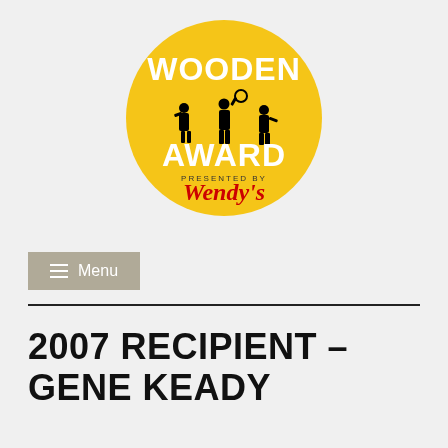[Figure (logo): Wooden Award logo — golden yellow circle with white bold text 'WOODEN AWARD', black silhouettes of basketball players, and 'PRESENTED BY Wendy's' in red cursive script at the bottom]
≡ Menu
2007 RECIPIENT – GENE KEADY